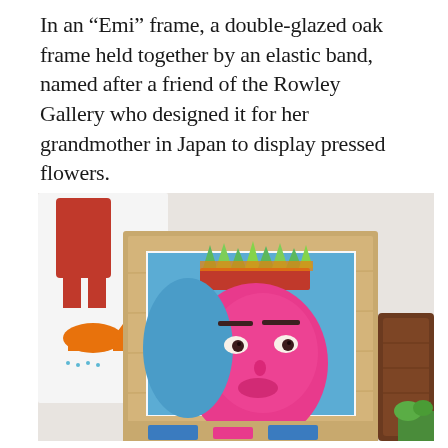In an “Emi” frame, a double-glazed oak frame held together by an elastic band, named after a friend of the Rowley Gallery who designed it for her grandmother in Japan to display pressed flowers.
[Figure (photo): A photograph showing framed artworks leaning against a surface. The foreground features an oak wood frame containing a colourful painting of a stylized face with a pink/magenta complexion, blue background, and a crown of green and orange flame-like shapes. To the left is a partially visible framed print with a red figure and an orange cat. To the right is a partial view of a dark brown wooden object. A second oak frame with blue abstract shapes is partially visible at the bottom.]